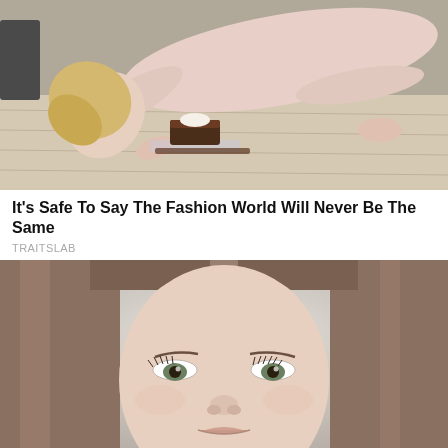[Figure (photo): Woman in white/pink ribbed bodysuit crouching on a wooden floor, leaning her face down toward a chocolate cake on a clear tray.]
It's Safe To Say The Fashion World Will Never Be The Same
TRAITSLAB
[Figure (photo): Close-up portrait of a young woman with long straight brown/dark blonde hair, looking directly at camera with a neutral expression, light background.]